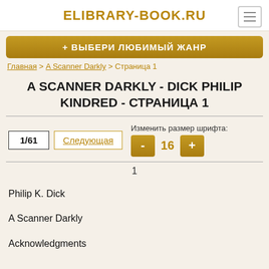ELIBRARY-BOOK.RU
+ ВЫБЕРИ ЛЮБИМЫЙ ЖАНР
Главная > A Scanner Darkly > Страница 1
A SCANNER DARKLY - DICK PHILIP KINDRED - СТРАНИЦА 1
1/61  Следующая  Изменить размер шрифта:  -  16  +
1
Philip K. Dick
A Scanner Darkly
Acknowledgments